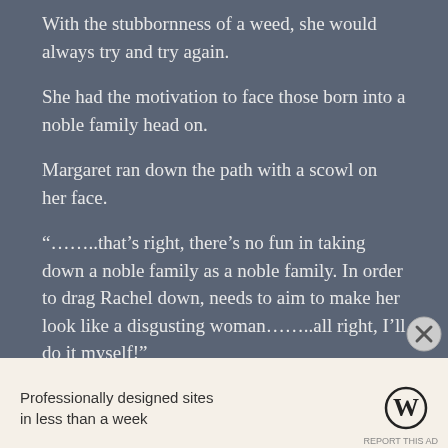With the stubbornness of a weed, she would always try and try again.
She had the motivation to face those born into a noble family head on.
Margaret ran down the path with a scowl on her face.
“……..that’s right, there’s no fun in taking down a noble family as a noble family. In order to drag Rachel down, needs to aim to make her look like a disgusting woman……..all right, I’ll do it myself!”
Margaret threw a fist in the air towards the sun.
Advertisements
Professionally designed sites in less than a week